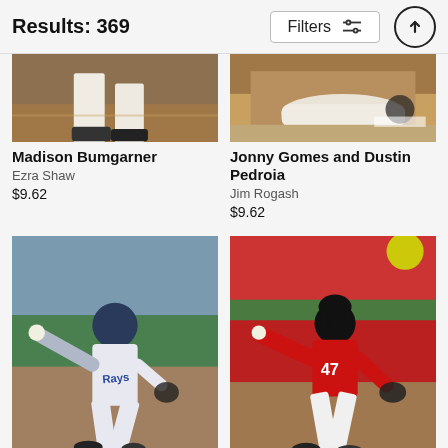Results: 369
[Figure (screenshot): Filters button with sliders icon]
[Figure (photo): Cropped baseball photo - Madison Bumgarner pitching, bottom portion showing legs/feet on dirt infield]
[Figure (photo): Cropped baseball photo - Jonny Gomes and Dustin Pedroia, player sliding on dirt infield]
Madison Bumgarner
Ezra Shaw
$9.62
Jonny Gomes and Dustin Pedroia
Jim Rogash
$9.62
[Figure (photo): Tampa Bay Rays pitcher in white uniform mid-windup on mound, stadium background]
[Figure (photo): Cincinnati Reds pitcher #47 in red uniform mid-windup on mound, stadium crowd background]